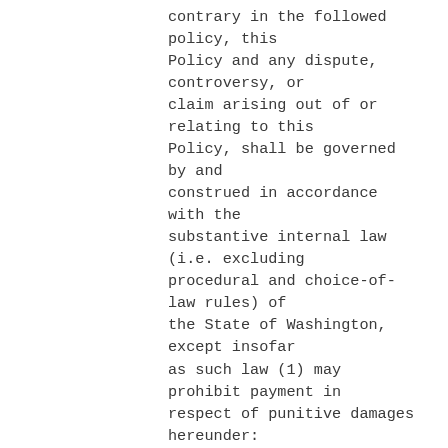contrary in the followed policy, this Policy and any dispute, controversy, or claim arising out of or relating to this Policy, shall be governed by and construed in accordance with the substantive internal law (i.e. excluding procedural and choice-of-law rules) of the State of Washington, except insofar as such law (1) may prohibit payment in respect of punitive damages hereunder: (2) pertain to regulation under Washington Insurance Law, or regulations issued by the Insurance Department of the State of Washington pursuant thereto, applying to insurers doing insurance business, or issuance, delivery or procurement of policies of insurance, within the State of Washington or as respect risks or insured entities situated in the State of Washington; or (3) are inconsistent with any provision of this Policy; provided, however, that the provisions